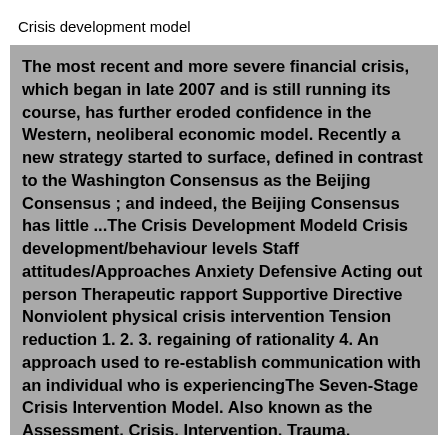Crisis development model
The most recent and more severe financial crisis, which began in late 2007 and is still running its course, has further eroded confidence in the Western, neoliberal economic model. Recently a new strategy started to surface, defined in contrast to the Washington Consensus as the Beijing Consensus ; and indeed, the Beijing Consensus has little ...The Crisis Development Modeld Crisis development/behaviour levels Staff attitudes/Approaches Anxiety Defensive Acting out person Therapeutic rapport Supportive Directive Nonviolent physical crisis intervention Tension reduction 1. 2. 3. regaining of rationality 4. An approach used to re-establish communication with an individual who is experiencingThe Seven-Stage Crisis Intervention Model. Also known as the Assessment, Crisis, Intervention, Trauma, Treatment (ACT) Model. The Seven-Stage Crisis Intervention